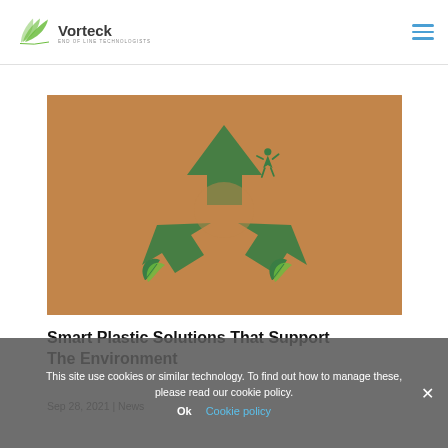Vorteck – End of Line Technologists
[Figure (photo): Paper craft recycling symbol with green arrows, green human figure climbing, and decorative green leaves on a brown cardboard background.]
Smart Plastic Solutions That Support The Environment
Sep 28, 2021 | News
This site use cookies or similar technology. To find out how to manage these, please read our cookie policy.